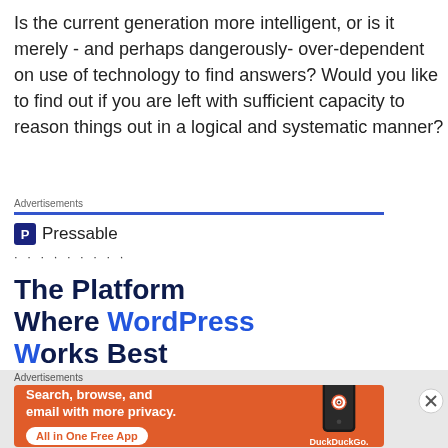Is the current generation more intelligent, or is it merely - and perhaps dangerously- over-dependent on use of technology to find answers? Would you like to find out if you are left with sufficient capacity to reason things out in a logical and systematic manner?
Advertisements
[Figure (screenshot): Pressable advertisement showing logo with 'P' icon and name 'Pressable', dots below, and headline 'The Platform Where WordPress Works Best']
Advertisements
[Figure (screenshot): DuckDuckGo advertisement on orange background: 'Search, browse, and email with more privacy. All in One Free App' with phone mockup and DuckDuckGo logo]